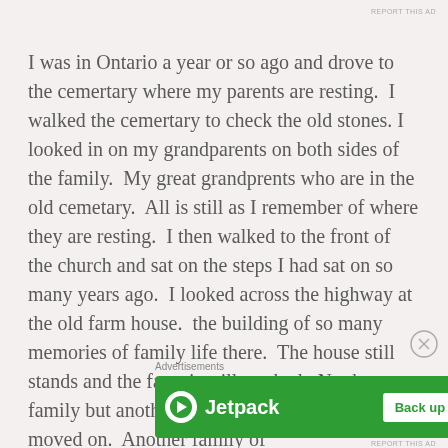REPORT THIS AD
I was in Ontario a year or so ago and drove to the cemertary where my parents are resting.  I walked the cemertary to check the old stones. I looked in on my grandparents on both sides of the family.  My great grandprents who are in the old cemetary.  All is still as I remember of where they are resting.  I then walked to the front of the church and sat on the steps I had sat on so many years ago.  I looked across the highway at the old farm house.  the building of so many memories of family life there.  The house still stands and the farm is still worked.  Not by our family but another who took over when we moved on.  Another family of
Advertisements
[Figure (other): Jetpack advertisement banner with green background, Jetpack logo and icon on left, and 'Back up your site' button on right]
REPORT THIS AD